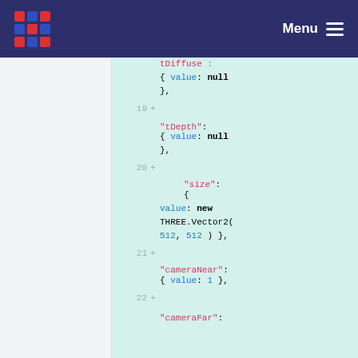Menu
tDiffuse : { value: null },
19 + 
"tDepth": { value: null },
20 + 
"size": { value: new THREE.Vector2( 512, 512 ) },
21 + 
"cameraNear": { value: 1 },
22 +